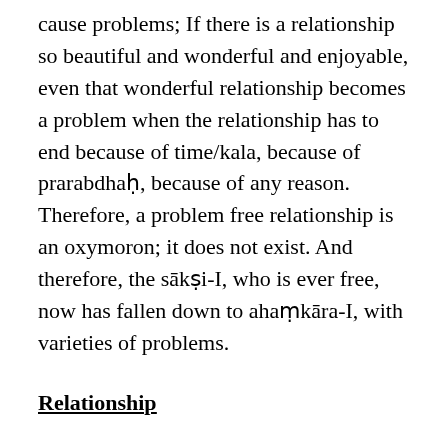cause problems; If there is a relationship so beautiful and wonderful and enjoyable, even that wonderful relationship becomes a problem when the relationship has to end because of time/kala, because of prarabdhaḥ, because of any reason. Therefore, a problem free relationship is an oxymoron; it does not exist. And therefore, the sākṣi-I, who is ever free, now has fallen down to ahaṃkāra-I, with varieties of problems.
Relationship
A few empirical relationships are enumerated in the sloka i.e., [Sanskrit] kāryakāraṇa saṃbandhaḥ; cause and effect relationship. I-